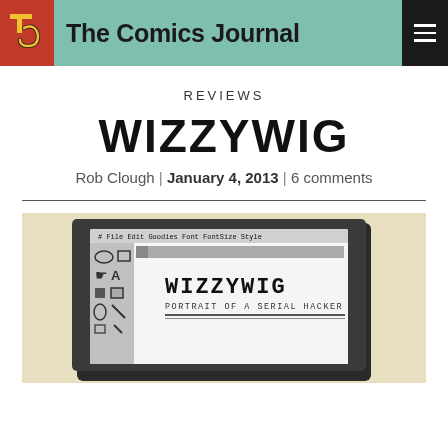The Comics Journal
REVIEWS
WIZZYWIG
Rob Clough | January 4, 2013 | 6 comments
[Figure (illustration): Book cover of Wizzywig: Portrait of a Serial Hacker, showing a vintage computer screen with the title in pixelated font, and a toolbar/application window interface]